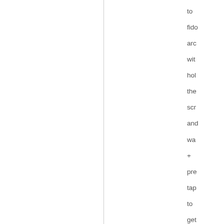to fido arc wit hol the scr and wa + pre tap to get tex to pas Ch tab so ma tim and doi the